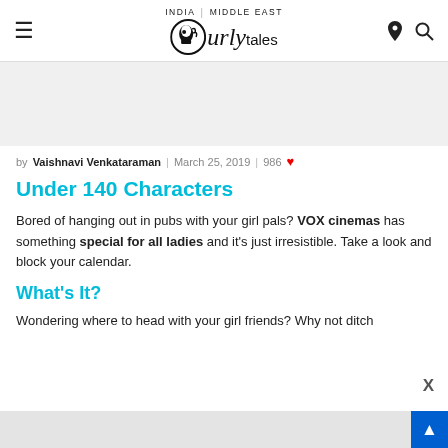Curly Tales — INDIA | MIDDLE EAST
by Vaishnavi Venkataraman | March 25, 2019 | 986 ♥
Under 140 Characters
Bored of hanging out in pubs with your girl pals? VOX cinemas has something special for all ladies and it's just irresistible. Take a look and block your calendar.
What's It?
Wondering where to head with your girl friends? Why not ditch